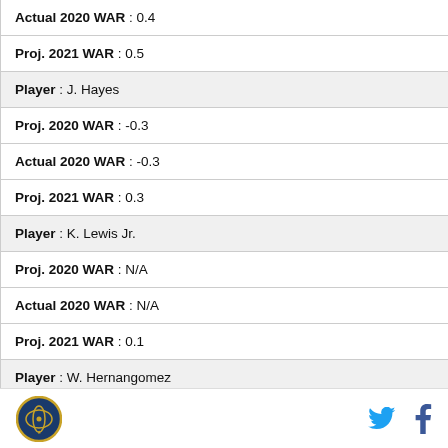Actual 2020 WAR : 0.4
Proj. 2021 WAR : 0.5
Player : J. Hayes
Proj. 2020 WAR : -0.3
Actual 2020 WAR : -0.3
Proj. 2021 WAR : 0.3
Player : K. Lewis Jr.
Proj. 2020 WAR : N/A
Actual 2020 WAR : N/A
Proj. 2021 WAR : 0.1
Player : W. Hernangomez